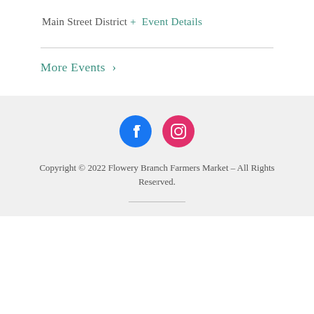Main Street District
+ Event Details
More Events >
[Figure (illustration): Facebook and Instagram social media icon circles in blue and pink/red]
Copyright © 2022 Flowery Branch Farmers Market – All Rights Reserved.